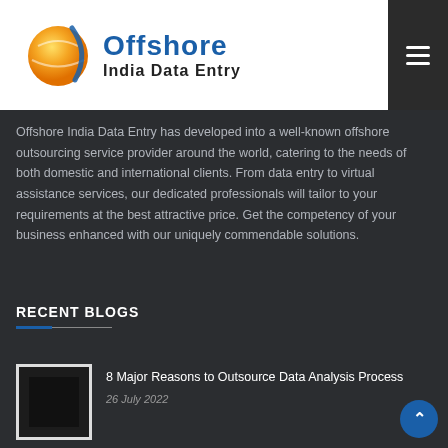Offshore India Data Entry
Offshore India Data Entry has developed into a well-known offshore outsourcing service provider around the world, catering to the needs of both domestic and international clients. From data entry to virtual assistance services, our dedicated professionals will tailor to your requirements at the best attractive price. Get the competency of your business enhanced with our uniquely commendable solutions.
RECENT BLOGS
8 Major Reasons to Outsource Data Analysis Process
26 July 2022